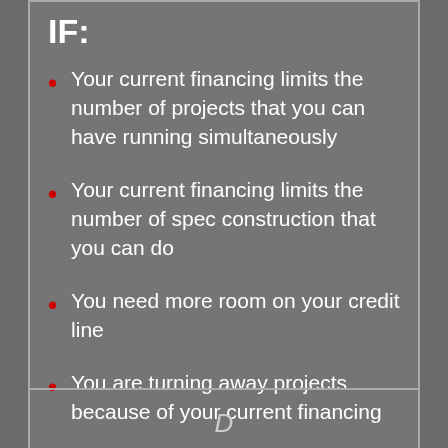IF:
Your current financing limits the number of projects that you can have running simultaneously
Your current financing limits the number of spec construction that you can do
You need more room on your credit line
You are turning away projects because of your current financing